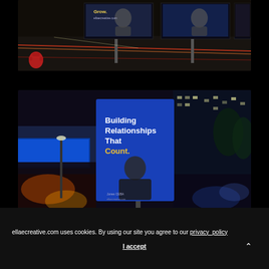[Figure (photo): Outdoor advertising billboards at night on a city street showing professional/financial advertisement with 'Grow.' text, lit up against a dark urban background with traffic light trails]
[Figure (photo): City street at night with a blue outdoor advertising billboard/display showing 'Building Relationships That Count.' text in white and yellow, with a portrait of a professional man in a suit, surrounded by colorful urban light trails and reflections on wet pavement]
ellaecreative.com uses cookies. By using our site you agree to our privacy_policy
I accept